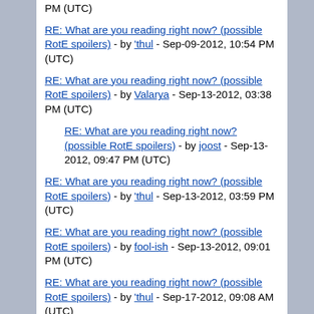PM (UTC)
RE: What are you reading right now? (possible RotE spoilers) - by 'thul - Sep-09-2012, 10:54 PM (UTC)
RE: What are you reading right now? (possible RotE spoilers) - by Valarya - Sep-13-2012, 03:38 PM (UTC)
RE: What are you reading right now? (possible RotE spoilers) - by joost - Sep-13-2012, 09:47 PM (UTC)
RE: What are you reading right now? (possible RotE spoilers) - by 'thul - Sep-13-2012, 03:59 PM (UTC)
RE: What are you reading right now? (possible RotE spoilers) - by fool-ish - Sep-13-2012, 09:01 PM (UTC)
RE: What are you reading right now? (possible RotE spoilers) - by 'thul - Sep-17-2012, 09:08 AM (UTC)
RE: What are you reading right now? (possible RotE spoilers) - by Narya - Sep-22-2012, 12:52 AM (UTC)
RE: What are you reading right now? (possible RotE spoilers) - by 'thul - Sep-22-2012, 06:40 AM (UTC)
RE: What are you reading right now? (possible RotE spoilers) - by fool-ish - Sep-22-2012, 10:35 PM (UTC)
RE: What are you reading right now? (possible RotE spoilers) - by joost - Sep-23-2012, 12:39 PM (UTC)